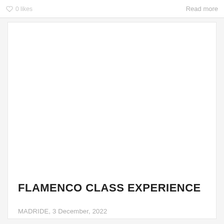0 likes
Read more
[Figure (photo): Large white/blank image area for flamenco class experience article card]
FLAMENCO CLASS EXPERIENCE
MADRIDE, 3 December, 2022